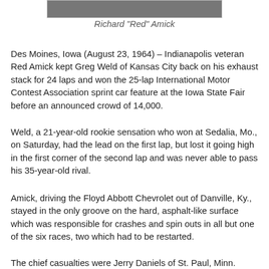[Figure (photo): A photograph of Richard 'Red' Amick — partially visible at the top of the page, cropped.]
Richard "Red" Amick
Des Moines, Iowa (August 23, 1964) – Indianapolis veteran Red Amick kept Greg Weld of Kansas City back on his exhaust stack for 24 laps and won the 25-lap International Motor Contest Association sprint car feature at the Iowa State Fair before an announced crowd of 14,000.
Weld, a 21-year-old rookie sensation who won at Sedalia, Mo., on Saturday, had the lead on the first lap, but lost it going high in the first corner of the second lap and was never able to pass his 35-year-old rival.
Amick, driving the Floyd Abbott Chevrolet out of Danville, Ky., stayed in the only groove on the hard, asphalt-like surface which was responsible for crashes and spin outs in all but one of the six races, two which had to be restarted.
The chief casualties were Jerry Daniels of St. Paul, Minn.